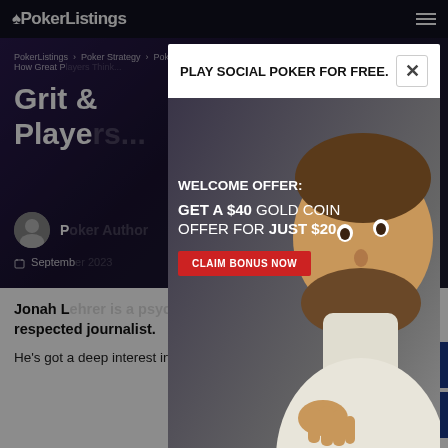PokerListings
PokerListings > Poker Strategy > Poker Psychology > Grit & the Grind: How Great P...
Grit & the Grind: How Great Poker Players...
P... P... September...
[Figure (photo): Advertisement popup modal for Global Poker social poker site. White header reads PLAY SOCIAL POKER FOR FREE. with an X close button. Shows a smiling man with beard. Text overlay: WELCOME OFFER: GET A $40 GOLD COIN OFFER FOR JUST $20. Red button: CLAIM BONUS NOW. Bottom shows Global Poker logo and fine print: NO PURCHASE NECESSARY. VGW Group. Void where prohibited by law. See T&Cs. 18+. Offer available to new customers only.]
Jonah L... ate and a respected journalist.
He's got a deep interest in psychology as well as poker, and